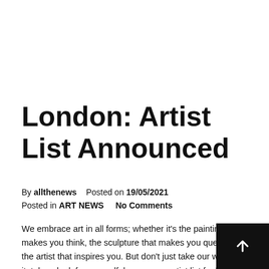London: Artist List Announced
By allthenews    Posted on 19/05/2021
Posted in ART NEWS    No Comments
We embrace art in all forms; whether it's the painting that makes you think, the sculpture that makes you question, or the artist that inspires you. But don't just take our word for it, take a look for yourself, browse our artist list for The